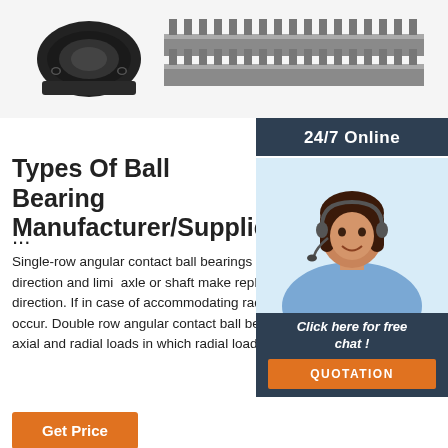[Figure (photo): Product images: black cylindrical roller bearing on the left, and a linear guide rail/track on the right, shown against a light background.]
24/7 Online
[Figure (photo): Customer service representative: smiling woman with headset, wearing a light blue shirt. Below are a 'Click here for free chat!' message and a 'QUOTATION' orange button.]
Types Of Ball Bearing Manufacturer/Supplier/Fa...
...
Single-row angular contact ball bearings c... bear axial load from one direction and limi... axle or shaft make replacement in only on... direction. If in case of accommodating radial load, extra axial load will occur. Double row angular contact ball bearings can bear combined axial and radial loads in which radial loads are higher.
Get Price